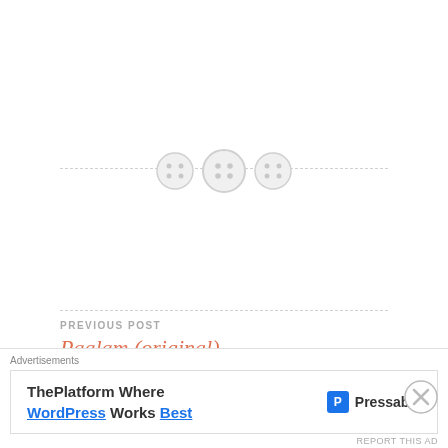[Figure (illustration): Decorative divider with three button/circle icons on a dashed horizontal line]
PREVIOUS POST
Paalam (original)
NEXT POST
50th Birthday Gig
4 thoughts on “The Parable of the
Advertisements
ThePlatform Where WordPress Works Best | Pressable